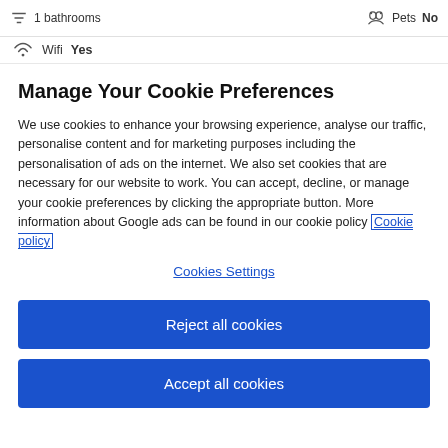1 bathrooms   Pets No
Wifi Yes
Manage Your Cookie Preferences
We use cookies to enhance your browsing experience, analyse our traffic, personalise content and for marketing purposes including the personalisation of ads on the internet. We also set cookies that are necessary for our website to work. You can accept, decline, or manage your cookie preferences by clicking the appropriate button. More information about Google ads can be found in our cookie policy Cookie policy
Cookies Settings
Reject all cookies
Accept all cookies